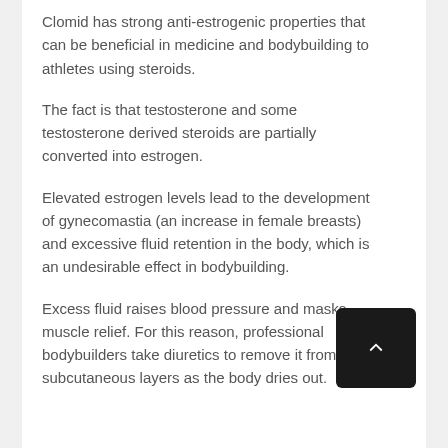Clomid has strong anti-estrogenic properties that can be beneficial in medicine and bodybuilding to athletes using steroids.
The fact is that testosterone and some testosterone derived steroids are partially converted into estrogen.
Elevated estrogen levels lead to the development of gynecomastia (an increase in female breasts) and excessive fluid retention in the body, which is an undesirable effect in bodybuilding.
Excess fluid raises blood pressure and masks muscle relief. For this reason, professional bodybuilders take diuretics to remove it from the subcutaneous layers as the body dries out.